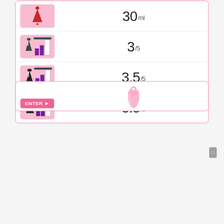| Icon | Value |
| --- | --- |
| [menstrual cup icon] | 30 ml |
| [capacity rating icon] | 3/5 |
| [capacity rating icon] | 3.5/5 |
| [capacity rating icon] | 3.5/5 |
[Figure (illustration): Bottom card section with pink menstrual cup product image and ENTER button]